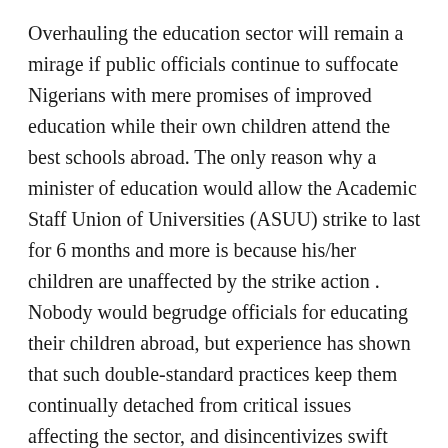Overhauling the education sector will remain a mirage if public officials continue to suffocate Nigerians with mere promises of improved education while their own children attend the best schools abroad. The only reason why a minister of education would allow the Academic Staff Union of Universities (ASUU) strike to last for 6 months and more is because his/her children are unaffected by the strike action . Nobody would begrudge officials for educating their children abroad, but experience has shown that such double-standard practices keep them continually detached from critical issues affecting the sector, and disincentivizes swift resolution of sectoral problems. It is that disconnect that lead officials to instinctively borrow educational models from other jurisdictions without understudying the contextual dynamics at play in climes where they are copied from. The Lagos State government's